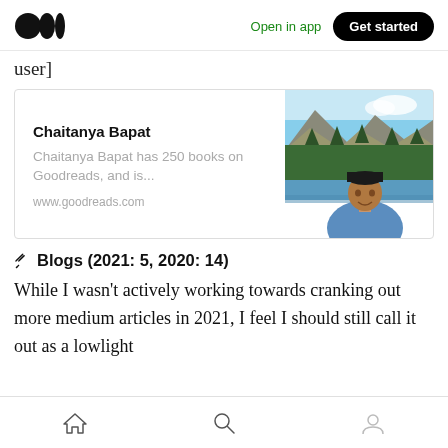Open in app | Get started
user]
[Figure (screenshot): Card showing Chaitanya Bapat profile with name, description 'Chaitanya Bapat has 250 books on Goodreads, and is...', URL 'www.goodreads.com', and a photo of a young man in a blue hoodie sitting outdoors near a lake with mountain/forest background.]
✎ Blogs (2021: 5, 2020: 14)
While I wasn't actively working towards cranking out more medium articles in 2021, I feel I should still call it out as a lowlight
Home | Search | Profile